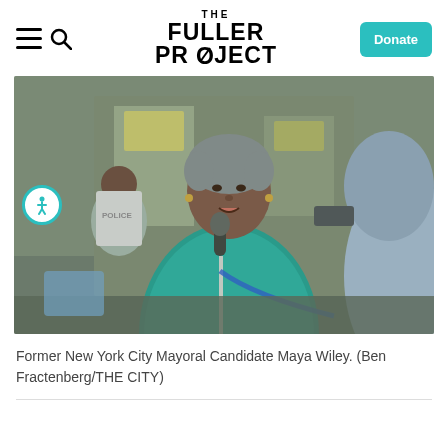THE FULLER PROJECT
[Figure (photo): Former New York City Mayoral Candidate Maya Wiley speaking into a microphone outdoors, wearing a teal top, with people in the background.]
Former New York City Mayoral Candidate Maya Wiley. (Ben Fractenberg/THE CITY)